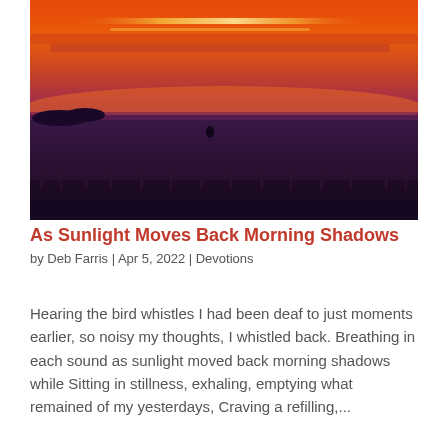[Figure (photo): Sunset landscape photo showing a vast flat plain or prairie under a vivid orange and purple sky, with dark silhouettes of low vegetation along the horizon]
As Sunlight Moves Back Morning Shadows
by Deb Farris  |  Apr 5, 2022  |  Devotions
Hearing the bird whistles I had been deaf to just moments earlier, so noisy my thoughts, I whistled back. Breathing in each sound as sunlight moved back morning shadows while Sitting in stillness, exhaling, emptying what remained of my yesterdays, Craving a refilling,...